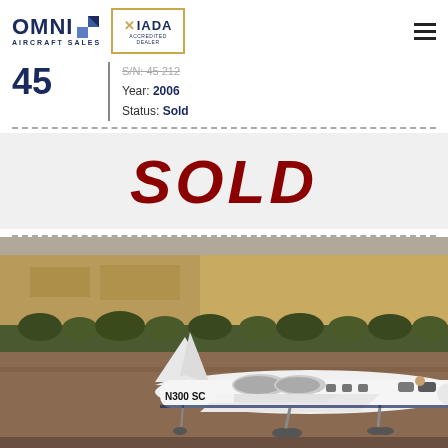OMNI AIRCRAFT SALES | IADA ACCREDITED DEALER
45
Year: 2006
Status: Sold
SOLD
[Figure (photo): Photo of a white business jet (N300SC) taxiing on a runway at an airport, with a beige industrial building and desert shrubs in the background.]